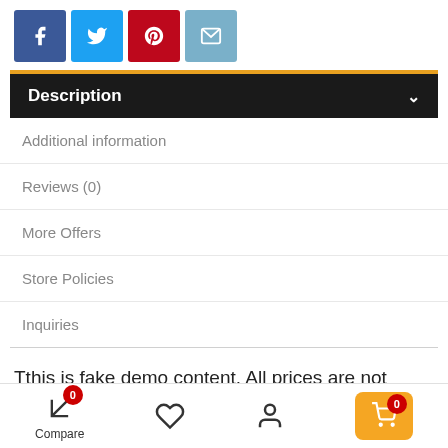[Figure (screenshot): Social share buttons row: Facebook (blue), Twitter (light blue), Pinterest (red), Email (blue-grey)]
Description
Additional information
Reviews (0)
More Offers
Store Policies
Inquiries
Tthis is fake demo content. All prices are not correct, all logos, images are just for visual purpose, you should delete this post on your real site. Gala flagships have always led
[Figure (screenshot): Bottom navigation bar with Compare (badge 0), heart/wishlist, user/account, and cart button (orange, badge 0)]